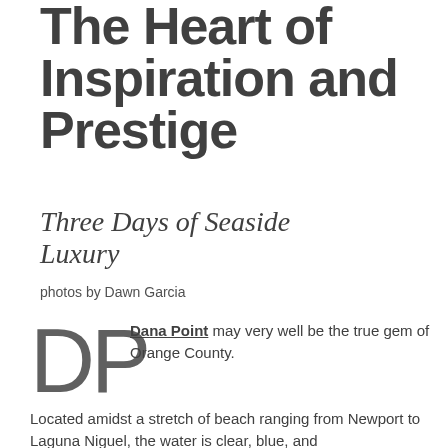The Heart of Inspiration and Prestige
Three Days of Seaside Luxury
photos by Dawn Garcia
Dana Point may very well be the true gem of Orange County. Located amidst a stretch of beach ranging from Newport to Laguna Niguel, the water is clear, blue, and